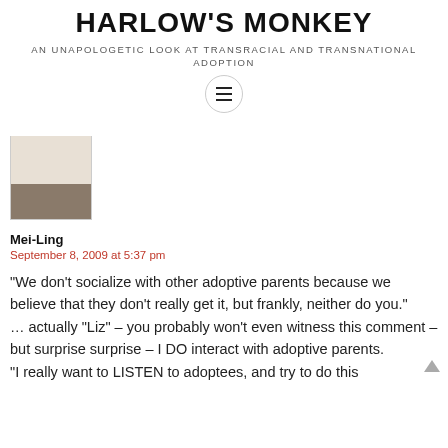HARLOW'S MONKEY
AN UNAPOLOGETIC LOOK AT TRANSRACIAL AND TRANSNATIONAL ADOPTION
[Figure (photo): Thumbnail image with brownish tones, partially cropped]
Mei-Ling
September 8, 2009 at 5:37 pm
“We don’t socialize with other adoptive parents because we believe that they don’t really get it, but frankly, neither do you.”
... actually “Liz” – you probably won’t even witness this comment – but surprise surprise – I DO interact with adoptive parents.
“I really want to LISTEN to adoptees, and try to do this